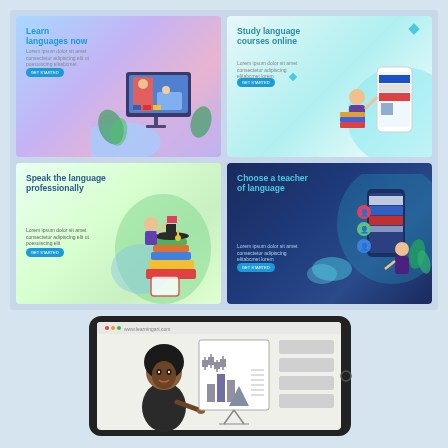[Figure (illustration): Grid of 4 language learning app/course landing page illustrations: 1) 'Learn languages now' with blue/purple gradient and online learning scene, 2) 'Study language courses online' with teal gradient and mobile phone with flags, 3) 'Speak the language professionally' with green gradient and person climbing book staircase, 4) 'Choose a teacher of language' with dark blue background and phone with flags and teacher figure]
[Figure (illustration): Tablet device showing an online learning platform with a female presenter/teacher character pointing at a whiteboard with charts, and content panels on the right side of the screen]